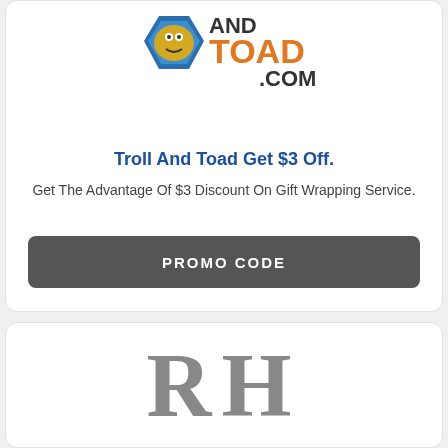[Figure (logo): Troll And Toad logo with hexagon shield and toad character, text 'AND TOAD .COM']
Troll And Toad Get $3 Off.
Get The Advantage Of $3 Discount On Gift Wrapping Service.
PROMO CODE
[Figure (logo): RH logo — large serif letters R and H in gray]